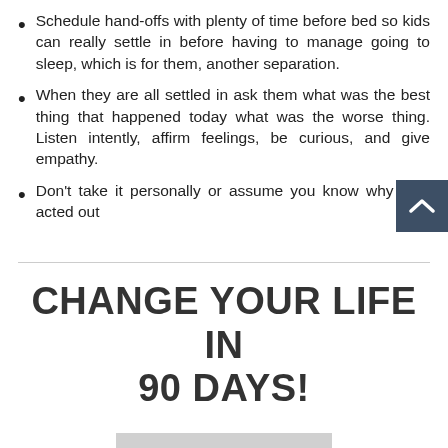Schedule hand-offs with plenty of time before bed so kids can really settle in before having to manage going to sleep, which is for them, another separation.
When they are all settled in ask them what was the best thing that happened today what was the worse thing. Listen intently, affirm feelings, be curious, and give empathy.
Don't take it personally or assume you know why they acted out
CHANGE YOUR LIFE IN 90 DAYS!
LEARN MORE